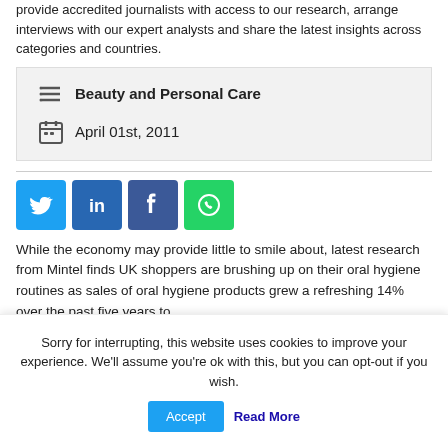provide accredited journalists with access to our research, arrange interviews with our expert analysts and share the latest insights across categories and countries.
Beauty and Personal Care
April 01st, 2011
[Figure (infographic): Social share buttons: Twitter (blue), LinkedIn (dark blue), Facebook (dark blue/purple), WhatsApp (green)]
While the economy may provide little to smile about, latest research from Mintel finds UK shoppers are brushing up on their oral hygiene routines as sales of oral hygiene products grew a refreshing 14% over the past five years to
Sorry for interrupting, this website uses cookies to improve your experience. We'll assume you're ok with this, but you can opt-out if you wish. Accept Read More